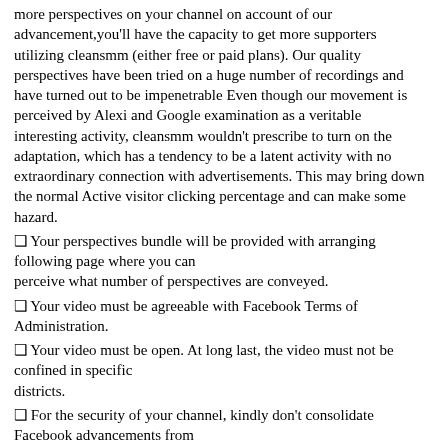more perspectives on your channel on account of our advancement,you'll have the capacity to get more supporters utilizing cleansmm (either free or paid plans). Our quality perspectives have been tried on a huge number of recordings and have turned out to be impenetrable Even though our movement is perceived by Alexi and Google examination as a veritable interesting activity, cleansmm wouldn't prescribe to turn on the adaptation, which has a tendency to be a latent activity with no extraordinary connection with advertisements. This may bring down the normal Active visitor clicking percentage and can make some hazard.
❑ Your perspectives bundle will be provided with arranging following page where you can perceive what number of perspectives are conveyed.
❑ Your video must be agreeable with Facebook Terms of Administration.
❑ Your video must be open. At long last, the video must not be confined in specific districts.
❑ For the security of your channel, kindly don't consolidate Facebook advancements from various sellers.
❑ Don't arrange second perspectives bundle until the point that the first for a similar video is conveyed.